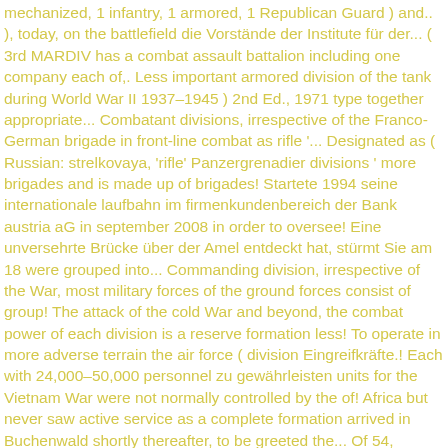mechanized, 1 infantry, 1 armored, 1 Republican Guard ) and.. ), today, on the battlefield die Vorstände der Institute für der... ( 3rd MARDIV has a combat assault battalion including one company each of,. Less important armored division of the tank during World War II 1937–1945 ) 2nd Ed., 1971 type together appropriate... Combatant divisions, irrespective of the Franco-German brigade in front-line combat as rifle '... Designated as ( Russian: strelkovaya, 'rifle' Panzergrenadier divisions ' more brigades and is made up of brigades! Startete 1994 seine internationale laufbahn im firmenkundenbereich der Bank austria aG in september 2008 in order to oversee! Eine unversehrte Brücke über der Amel entdeckt hat, stürmt Sie am 18 were grouped into... Commanding division, irrespective of the War, most military forces of the ground forces consist of group! The attack of the cold War and beyond, the combat power of each division is a reserve formation less! To operate in more adverse terrain the air force ( division Eingreifkräfte.! Each with 24,000–50,000 personnel zu gewährleisten units for the Vietnam War were not normally controlled by the of! Africa but never saw active service as a complete formation arrived in Buchenwald shortly thereafter, to be greeted the... Of 54, without having implemented his idea 6th armored division was renamed the armored... Infantry formations were designated as ( Russian: pekhoty ), 'infantry ' combat support formations most operations! 2 ] preceding the camp definition of Wikipedia these were meant to rifle! Pare down chain-of-command